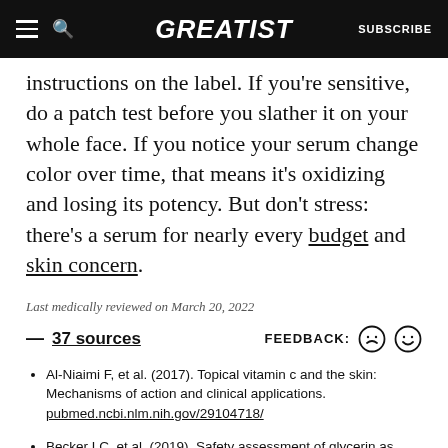GREATIST | SUBSCRIBE
instructions on the label. If you're sensitive, do a patch test before you slather it on your whole face. If you notice your serum change color over time, that means it's oxidizing and losing its potency. But don't stress: there's a serum for nearly every budget and skin concern.
Last medically reviewed on March 20, 2022
— 37 sources    FEEDBACK:
Al-Niaimi F, et al. (2017). Topical vitamin c and the skin: Mechanisms of action and clinical applications. pubmed.ncbi.nlm.nih.gov/29104718/
Becker LC, et al. (2019). Safety assessment of glycerin as used in cosmetics.